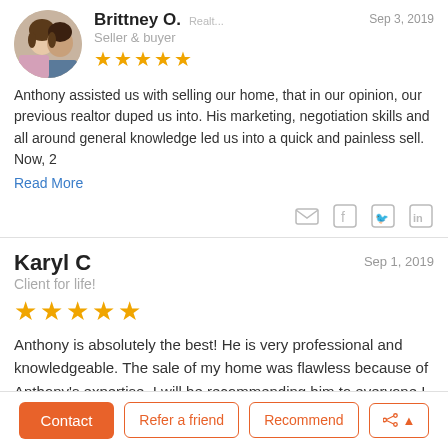[Figure (photo): Circular profile photo of a woman and man]
Brittney O.
Seller & buyer
Sep 3, 2019
★★★★★
Anthony assisted us with selling our home, that in our opinion, our previous realtor duped us into. His marketing, negotiation skills and all around general knowledge led us into a quick and painless sell. Now, 2
Read More
Karyl C
Client for life!
Sep 1, 2019
★★★★★
Anthony is absolutely the best! He is very professional and knowledgeable. The sale of my home was flawless because of Anthony's expertise. I will be recommending him to everyone I know who needs a realtor.
Contact | Refer a friend | Recommend | Share